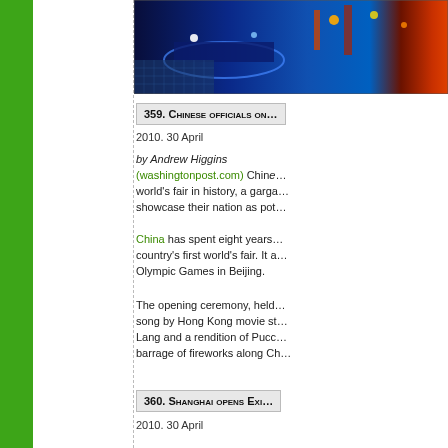[Figure (photo): Night photo of Shanghai Expo venue with blue and colorful lighting, stadium/pavilion visible]
359. Chinese officials o...
2010. 30 April
by Andrew Higgins (washingtonpost.com) China... world's fair in history, a garga... showcase their nation as pot...
China has spent eight years... country's first world's fair. It a... Olympic Games in Beijing.
The opening ceremony, held... song by Hong Kong movie st... Lang and a rendition of Pucc... barrage of fireworks along Ch...
360. Shanghai opens Exi...
2010. 30 April